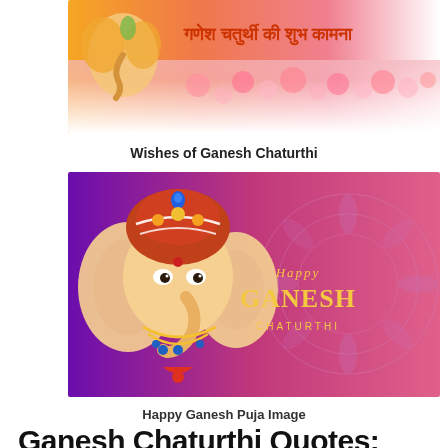[Figure (illustration): Ganesh Chaturthi greeting banner with Ganesha statue on left, flowers in background, and Hindi text 'गणेश चतुर्थी की शुभ कामना' in orange-red on the right]
Wishes of Ganesh Chaturthi
[Figure (illustration): Happy Ganesh Chaturthi greeting image with illustrated Ganesha head/face with decorated turban on purple-magenta gradient background, text 'HAPPY GANESH CHATURTHI' in yellow on the right with mandala decorations]
Happy Ganesh Puja Image
Ganesh Chaturthi Quotes: